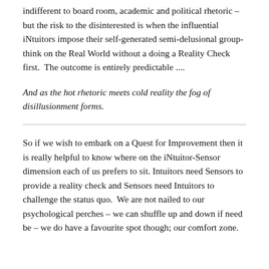indifferent to board room, academic and political rhetoric – but the risk to the disinterested is when the influential iNtuitors impose their self-generated semi-delusional group-think on the Real World without a doing a Reality Check first.  The outcome is entirely predictable ....
And as the hot rhetoric meets cold reality the fog of disillusionment forms.
So if we wish to embark on a Quest for Improvement then it is really helpful to know where on the iNtuitor-Sensor dimension each of us prefers to sit. Intuitors need Sensors to provide a reality check and Sensors need Intuitors to challenge the status quo.  We are not nailed to our psychological perches – we can shuffle up and down if need be – we do have a favourite spot though; our comfort zone.